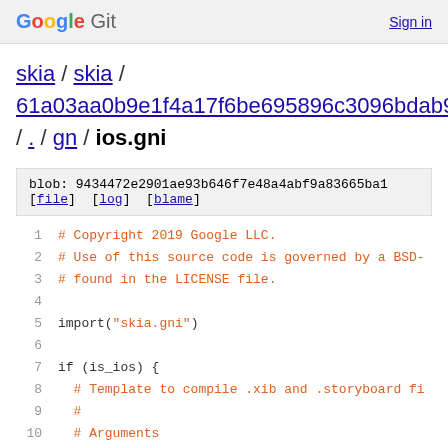Google Git  Sign in
skia / skia / 61a03aa0b9e1f4a17f6be695896c3096bdab909c / . / gn / ios.gni
blob: 9434472e2901ae93b646f7e48a4abf9a83665ba1 [file] [log] [blame]
1  # Copyright 2019 Google LLC.
2  # Use of this source code is governed by a BSD-
3  # found in the LICENSE file.
4
5  import("skia.gni")
6
7  if (is_ios) {
8    # Template to compile .xib and .storyboard fi
9    #
10   # Arguments